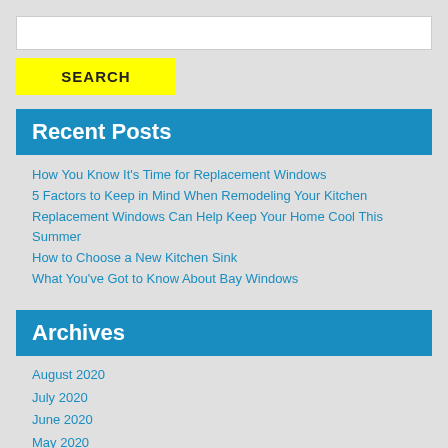[Search input box]
SEARCH
Recent Posts
How You Know It's Time for Replacement Windows
5 Factors to Keep in Mind When Remodeling Your Kitchen
Replacement Windows Can Help Keep Your Home Cool This Summer
How to Choose a New Kitchen Sink
What You've Got to Know About Bay Windows
Archives
August 2020
July 2020
June 2020
May 2020